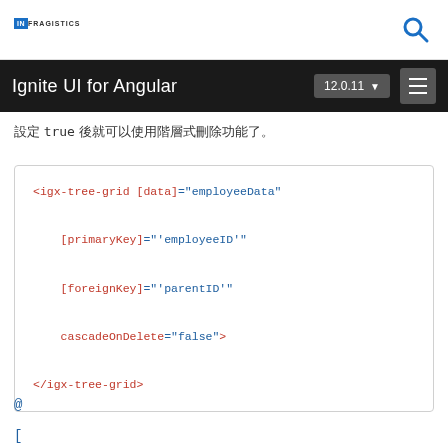Infragistics
Ignite UI for Angular 12.0.11
設定 true 後就可以使用階層式刪除功能了。
<igx-tree-grid [data]="employeeData" [primaryKey]="'employeeID'" [foreignKey]="'parentID'" cascadeOnDelete="false"> </igx-tree-grid>
@
[
[